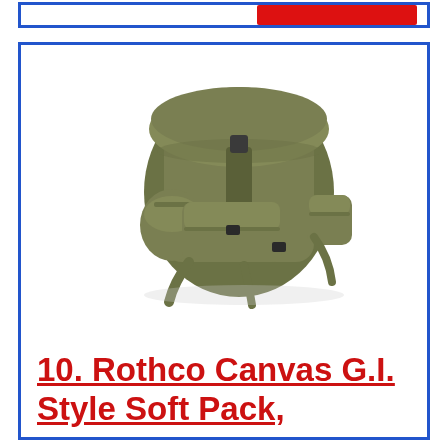[Figure (photo): Olive drab canvas military-style backpack with multiple front pockets, buckle straps, and shoulder straps, viewed from a three-quarter angle on white background]
10. Rothco Canvas G.I. Style Soft Pack,